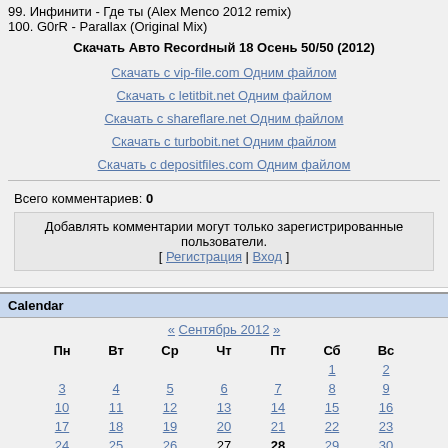99. Инфинити - Где ты (Alex Menco 2012 remix)
100. G0rR - Parallax (Original Mix)
Скачать Авто Recordный 18 Осень 50/50 (2012)
Скачать с vip-file.com Одним файлом
Скачать с letitbit.net Одним файлом
Скачать с shareflare.net Одним файлом
Скачать с turbobit.net Одним файлом
Скачать с depositfiles.com Одним файлом
Всего комментариев: 0
Добавлять комментарии могут только зарегистрированные пользователи. [ Регистрация | Вход ]
Calendar
| Пн | Вт | Ср | Чт | Пт | Сб | Вс |
| --- | --- | --- | --- | --- | --- | --- |
|  |  |  |  |  | 1 | 2 |
| 3 | 4 | 5 | 6 | 7 | 8 | 9 |
| 10 | 11 | 12 | 13 | 14 | 15 | 16 |
| 17 | 18 | 19 | 20 | 21 | 22 | 23 |
| 24 | 25 | 26 | 27 | 28 | 29 | 30 |
Полная версия сайта